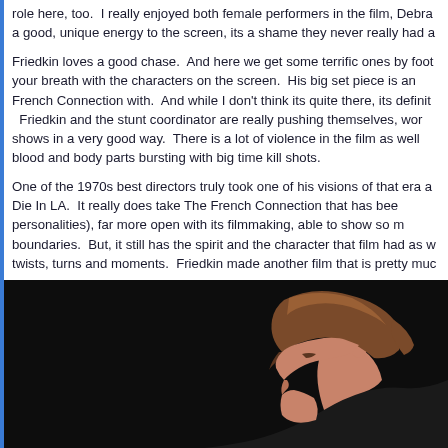role here, too.  I really enjoyed both female performers in the film, Debra... a good, unique energy to the screen, its a shame they never really had a...
Friedkin loves a good chase.  And here we get some terrific ones by foot... your breath with the characters on the screen.  His big set piece is an... French Connection with.  And while I don't think its quite there, its definit...  Friedkin and the stunt coordinator are really pushing themselves, wor... shows in a very good way.  There is a lot of violence in the film as wel... blood and body parts bursting with big time kill shots.
One of the 1970s best directors truly took one of his visions of that era a... Die In LA.  It really does take The French Connection that has bee... personalities), far more open with its filmmaking, able to show so m... boundaries.  But, it still has the spirit and the character that film had as w... twists, turns and moments.  Friedkin made another film that is pretty muc...
[Figure (photo): A person with brown hair shown in profile against a dark/black background, face partially visible looking downward.]